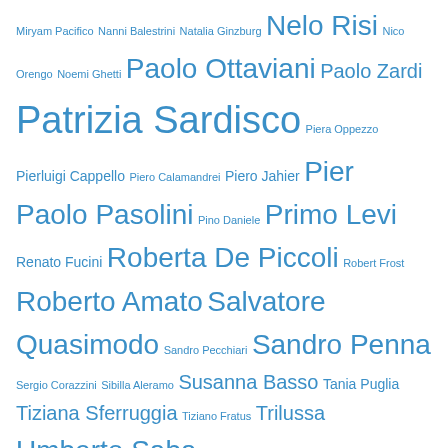Miryam Pacifico Nanni Balestrini Natalia Ginzburg Nelo Risi Nico Orengo Noemi Ghetti Paolo Ottaviani Paolo Zardi Patrizia Sardisco Piera Oppezzo Pierluigi Cappello Piero Calamandrei Piero Jahier Pier Paolo Pasolini Pino Daniele Primo Levi Renato Fucini Roberta De Piccoli Robert Frost Roberto Amato Salvatore Quasimodo Sandro Pecchiari Sandro Penna Sergio Corazzini Sibilla Aleramo Susanna Basso Tania Puglia Tiziana Sferruggia Tiziano Fratus Trilussa Umberto Saba Valerio Magrelli Vasile Baghiu Vincenzo Cardarelli Viola Ardone Vittorio Sereni W. B. Yeats W.L.Bowles Walt Whitman
Categories